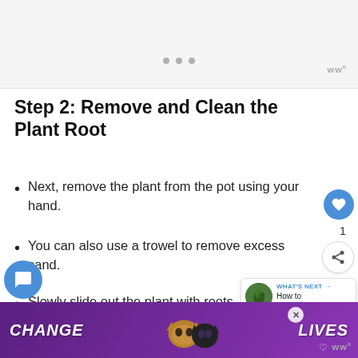[Figure (other): Top image area with navigation dots and wikiHow logo watermark]
Step 2: Remove and Clean the Plant Root
Next, remove the plant from the pot using your hand.
You can also use a trowel to remove excess sand.
Slowly slide out the plant with roots intact, and gently rinse it under running
[Figure (screenshot): CHANGE LIVES advertisement banner with cat photo on purple background]